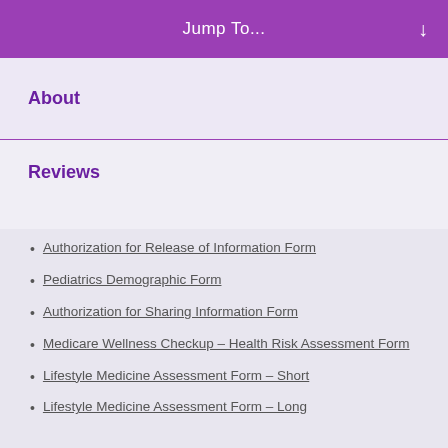Jump To...
About
Reviews
Authorization for Release of Information Form
Pediatrics Demographic Form
Authorization for Sharing Information Form
Medicare Wellness Checkup - Health Risk Assessment Form
Lifestyle Medicine Assessment Form - Short
Lifestyle Medicine Assessment Form - Long